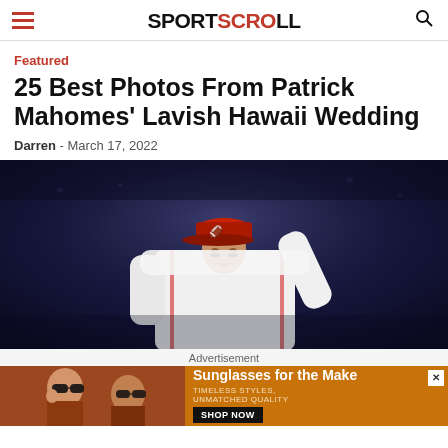SPORTSCROLL
Featured
25 Best Photos From Patrick Mahomes' Lavish Hawaii Wedding
Darren - March 17, 2022
[Figure (photo): Football player in dark uniform with Tampa Bay Buccaneers cap waving, stadium background]
Advertisement
[Figure (photo): Advertisement banner: two women wearing sunglasses on brown background. Text reads 'Sunglasses for the Make, TIMELESS STYLES, UNMATCHED QUALITY, SHOP NOW']